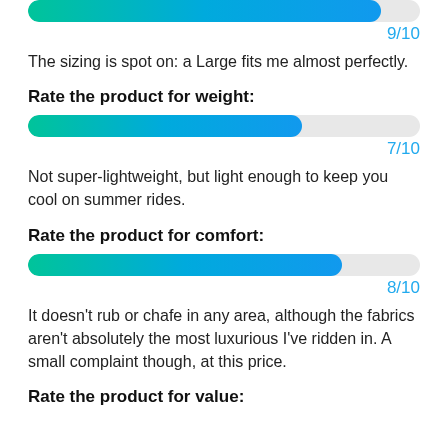[Figure (other): Rating bar partially filled showing score at top of page (cropped)]
9/10
The sizing is spot on: a Large fits me almost perfectly.
Rate the product for weight:
[Figure (other): Rating bar for weight, approximately 7/10 filled]
7/10
Not super-lightweight, but light enough to keep you cool on summer rides.
Rate the product for comfort:
[Figure (other): Rating bar for comfort, approximately 8/10 filled]
8/10
It doesn't rub or chafe in any area, although the fabrics aren't absolutely the most luxurious I've ridden in. A small complaint though, at this price.
Rate the product for value: